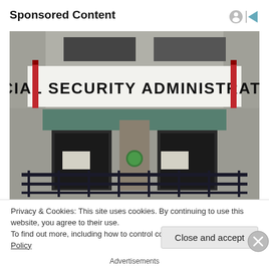Sponsored Content
[Figure (photo): Exterior photo of a Social Security Administration office building showing the large sign reading 'SOCIAL SECURITY ADMINISTRATION', entrance doors with railing, and red bollards.]
Privacy & Cookies: This site uses cookies. By continuing to use this website, you agree to their use.
To find out more, including how to control cookies, see here: Cookie Policy
Advertisements